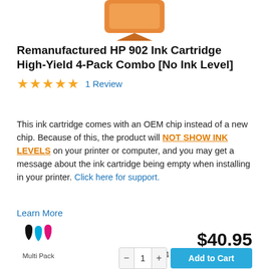[Figure (photo): Partial product image of HP 902 ink cartridge, cropped at top of page showing bottom portion of the cartridge packaging in orange/color.]
Remanufactured HP 902 Ink Cartridge High-Yield 4-Pack Combo [No Ink Level]
★★★★★ 1 Review
This ink cartridge comes with an OEM chip instead of a new chip. Because of this, the product will NOT SHOW INK LEVELS on your printer or computer, and you may get a message about the ink cartridge being empty when installing in your printer. Click here for support.
Learn More
[Figure (illustration): Three ink drops in black, cyan, and magenta colors representing Multi Pack]
Multi Pack
$40.95
4 Cartridges / $10.24ea